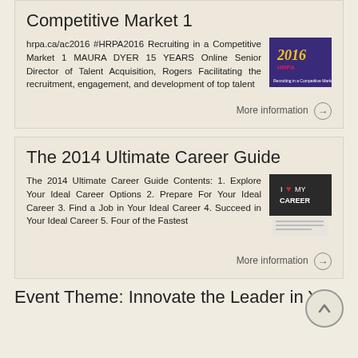Competitive Market 1
hrpa.ca/ac2016 #HRPA2016 Recruiting in a Competitive Market 1 MAURA DYER 15 YEARS Online Senior Director of Talent Acquisition, Rogers Facilitating the recruitment, engagement, and development of top talent
[Figure (illustration): HRPA 2016 conference thumbnail showing purple background with '2016 HRPA' text and 'Recruiting in a Competitive Market' subtitle]
More information ➔
The 2014 Ultimate Career Guide
The 2014 Ultimate Career Guide Contents: 1. Explore Your Ideal Career Options 2. Prepare For Your Ideal Career 3. Find a Job in Your Ideal Career 4. Succeed in Your Ideal Career 5. Four of the Fastest
[Figure (illustration): Career guide thumbnail showing 'I love MY CAREER' text on dark background with document pages below]
More information ➔
Event Theme: Innovate the Leader in You.